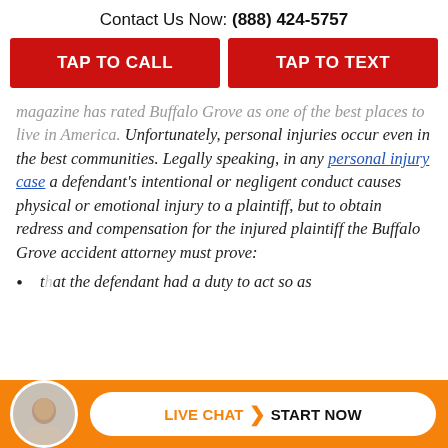Contact Us Now: (888) 424-5757
TAP TO CALL
TAP TO TEXT
magazine has rated Buffalo Grove as one of the best places to live in America. Unfortunately, personal injuries occur even in the best communities. Legally speaking, in any personal injury case a defendant's intentional or negligent conduct causes physical or emotional injury to a plaintiff, but to obtain redress and compensation for the injured plaintiff the Buffalo Grove accident attorney must prove:
that the defendant had a duty to act so as
LIVE CHAT START NOW